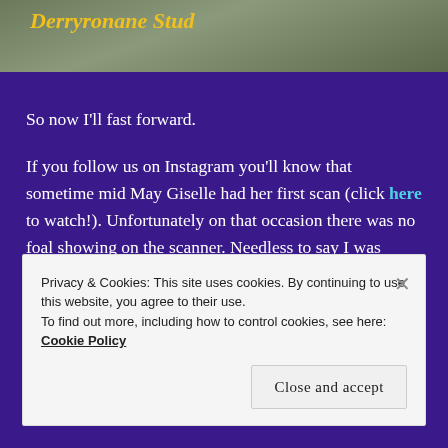[Figure (photo): Top portion of a webpage showing 'Derryronane Stud' title in yellow italic text over a photo of horses/cattle on grass]
So now I'll fast forward.
If you follow us on Instagram you'll know that sometime mid May Giselle had her first scan (click here to watch!). Unfortunately on that occasion there was no foal showing on the scanner. Needless to say I was disappointed, but the idea that Giselle would have a successful pregnancy with one attempt would be hard to believe.
Privacy & Cookies: This site uses cookies. By continuing to use this website, you agree to their use.
To find out more, including how to control cookies, see here: Cookie Policy
Close and accept